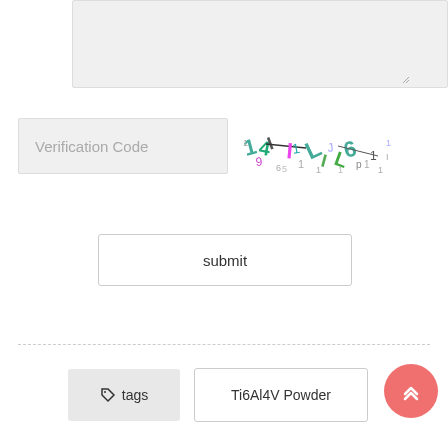[Figure (screenshot): A textarea input box with light gray background and resize handle in bottom right corner]
Verification Code
[Figure (other): CAPTCHA image showing distorted numbers and letters in various colors including green, magenta, cyan, and dark blue/black, arranged chaotically]
submit
tags
Ti6Al4V Powder